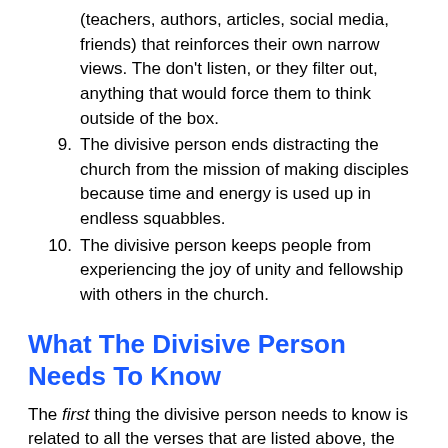(teachers, authors, articles, social media, friends) that reinforces their own narrow views. The don't listen, or they filter out, anything that would force them to think outside of the box.
9. The divisive person ends distracting the church from the mission of making disciples because time and energy is used up in endless squabbles.
10. The divisive person keeps people from experiencing the joy of unity and fellowship with others in the church.
What The Divisive Person Needs To Know
The first thing the divisive person needs to know is related to all the verses that are listed above, the Bible highly values unity in the the church. Jesus showed us